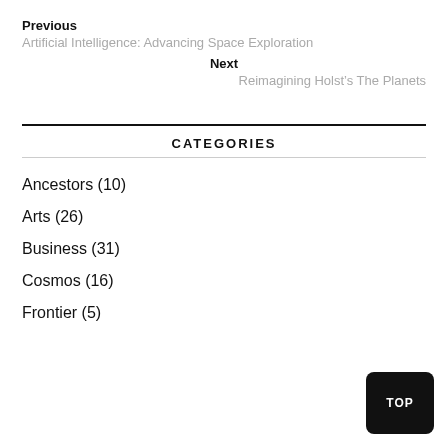Previous
Artificial Intelligence: Advancing Space Exploration
Next
Reimagining Holst’s The Planets
CATEGORIES
Ancestors (10)
Arts (26)
Business (31)
Cosmos (16)
Frontier (5)
TOP